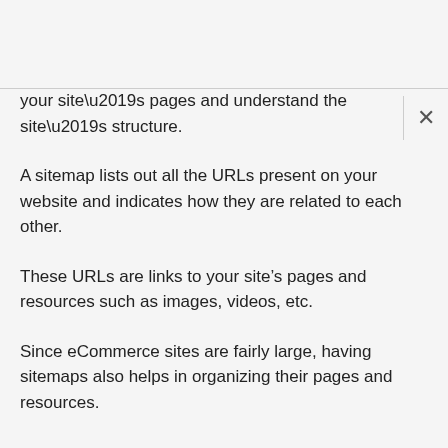your site’s pages and understand the site’s structure.
A sitemap lists out all the URLs present on your website and indicates how they are related to each other.
These URLs are links to your site’s pages and resources such as images, videos, etc.
Since eCommerce sites are fairly large, having sitemaps also helps in organizing their pages and resources.